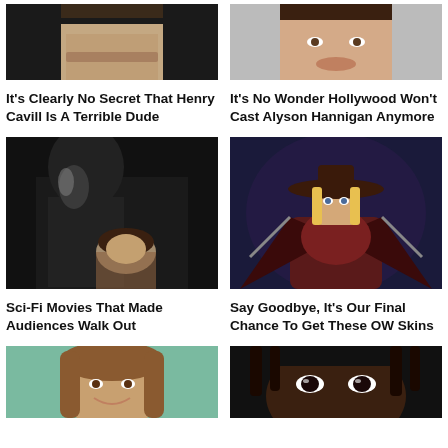[Figure (photo): Partial photo of Henry Cavill's face (lower portion), dark background]
It's Clearly No Secret That Henry Cavill Is A Terrible Dude
[Figure (photo): Partial photo of Alyson Hannigan's face smiling, light background]
It's No Wonder Hollywood Won't Cast Alyson Hannigan Anymore
[Figure (photo): Dark sci-fi movie scene with a figure in black armor looming over a woman]
Sci-Fi Movies That Made Audiences Walk Out
[Figure (photo): Animated character - blonde woman in witch hat and dark fantasy armor (Overwatch style)]
Say Goodbye, It's Our Final Chance To Get These OW Skins
[Figure (photo): Young girl with wavy hair smiling, teal background]
[Figure (photo): Close-up of a person's face with dramatic lighting, dark background]